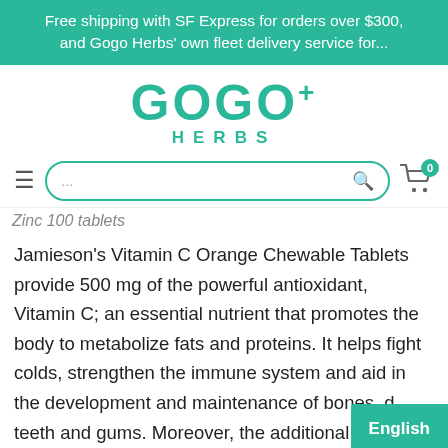Free shipping with SF Express for orders over $300, and Gogo Herbs' own fleet delivery service for...
[Figure (logo): GOGO+ HERBS logo in teal color]
... (search box with hamburger menu and cart icon showing 0 items)
Zinc 100 tablets
Jamieson's Vitamin C Orange Chewable Tablets provide 500 mg of the powerful antioxidant, Vitamin C; an essential nutrient that promotes the body to metabolize fats and proteins. It helps fight colds, strengthen the immune system and aid in the development and maintenance of bones, teeth and gums. Moreover, the additional
English